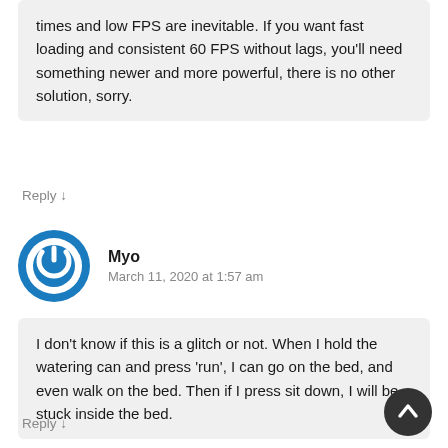times and low FPS are inevitable. If you want fast loading and consistent 60 FPS without lags, you'll need something newer and more powerful, there is no other solution, sorry.
Reply ↓
[Figure (illustration): Blue circular power button icon avatar]
Myo
March 11, 2020 at 1:57 am
I don't know if this is a glitch or not. When I hold the watering can and press 'run', I can go on the bed, and even walk on the bed. Then if I press sit down, I will be stuck inside the bed.
Reply ↓
[Figure (illustration): Dark circular scroll-to-top button with upward arrow]